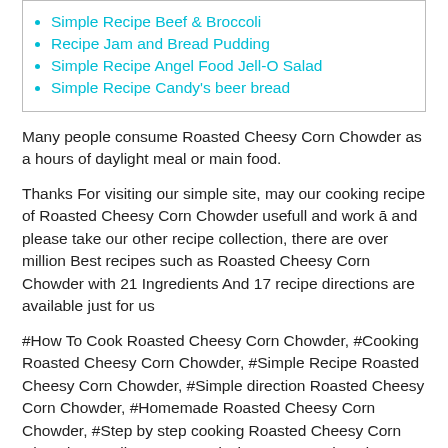Simple Recipe Beef & Broccoli
Recipe Jam and Bread Pudding
Simple Recipe Angel Food Jell-O Salad
Simple Recipe Candy's beer bread
Many people consume Roasted Cheesy Corn Chowder as a hours of daylight meal or main food.
Thanks For visiting our simple site, may our cooking recipe of Roasted Cheesy Corn Chowder usefull and work ā and please take our other recipe collection, there are over million Best recipes such as Roasted Cheesy Corn Chowder with 21 Ingredients And 17 recipe directions are available just for us
#How To Cook Roasted Cheesy Corn Chowder, #Cooking Roasted Cheesy Corn Chowder, #Simple Recipe Roasted Cheesy Corn Chowder, #Simple direction Roasted Cheesy Corn Chowder, #Homemade Roasted Cheesy Corn Chowder, #Step by step cooking Roasted Cheesy Corn Chowder, #Delicous Roasted Cheesy Corn Chowder, #How To Make Roasted Cheesy Corn Chowder, #Food